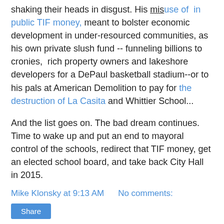shaking their heads in disgust. His misuse of in public TIF money, meant to bolster economic development in under-resourced communities, as his own private slush fund -- funneling billions to cronies, rich property owners and lakeshore developers for a DePaul basketball stadium--or to his pals at American Demolition to pay for the destruction of La Casita and Whittier School...
And the list goes on. The bad dream continues. Time to wake up and put an end to mayoral control of the schools, redirect that TIF money, get an elected school board, and take back City Hall in 2015.
Mike Klonsky at 9:13 AM    No comments:
Share
Monday, August 19, 2013
WEEKEND QUOTABLES